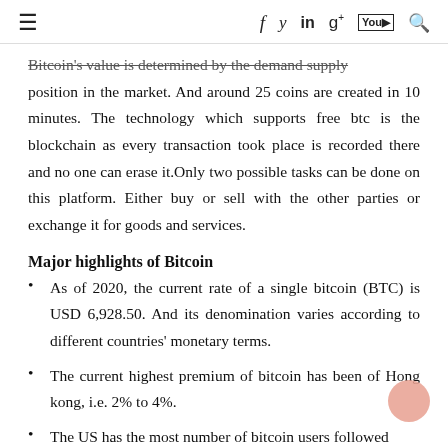≡   f  y  in  g+  yt  🔍
Bitcoin's value is determined by the demand supply position in the market. And around 25 coins are created in 10 minutes. The technology which supports free btc is the blockchain as every transaction took place is recorded there and no one can erase it.Only two possible tasks can be done on this platform. Either buy or sell with the other parties or exchange it for goods and services.
Major highlights of Bitcoin
As of 2020, the current rate of a single bitcoin (BTC) is USD 6,928.50. And its denomination varies according to different countries' monetary terms.
The current highest premium of bitcoin has been of Hong kong, i.e. 2% to 4%.
The US has the most number of bitcoin users followed